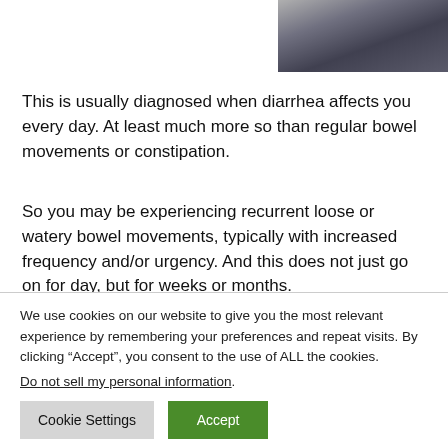[Figure (photo): Partial photo of a person, visible at top right corner of the page]
This is usually diagnosed when diarrhea affects you every day. At least much more so than regular bowel movements or constipation.
So you may be experiencing recurrent loose or watery bowel movements, typically with increased frequency and/or urgency. And this does not just go on for day, but for weeks or months.
We use cookies on our website to give you the most relevant experience by remembering your preferences and repeat visits. By clicking “Accept”, you consent to the use of ALL the cookies.
Do not sell my personal information.